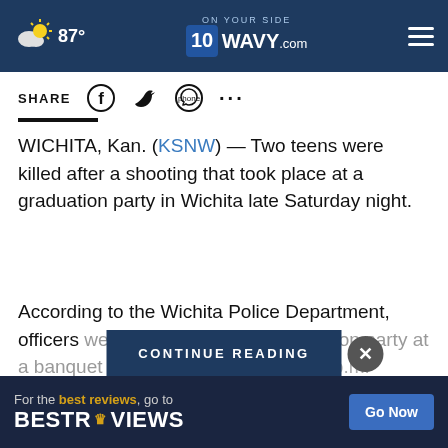87° | ON YOUR SIDE WAVY.com
SHARE
WICHITA, Kan. (KSNW) — Two teens were killed after a shooting that took place at a graduation party in Wichita late Saturday night.
According to the Wichita Police Department, officers were called out to the graduation party at a banquet hall in the north… and 11:20 p.m.
[Figure (screenshot): CONTINUE READING button overlay with close (X) button]
[Figure (screenshot): BestReviews ad banner: 'For the best reviews, go to BESTREVIEWS' with 'Go Now' button]